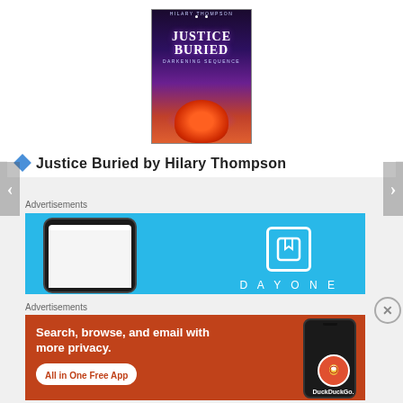[Figure (illustration): Book cover of 'Justice Buried' by Hilary Thompson. Dark fantasy cover with a figure with bright red/orange hair crouching, purple glow and starry sky background. Author name at top, title in large text in middle.]
Justice Buried by Hilary Thompson
Advertisements
[Figure (screenshot): DayOne app advertisement. Light blue background showing a phone mockup on left with the DayOne app interface, and the DayOne logo (white rounded square with bookmark icon) and 'DAYONE' text in white letters on right.]
Advertisements
[Figure (screenshot): DuckDuckGo advertisement on orange/red background. Text reads 'Search, browse, and email with more privacy.' with 'All in One Free App' button. Phone mockup and DuckDuckGo logo on right.]